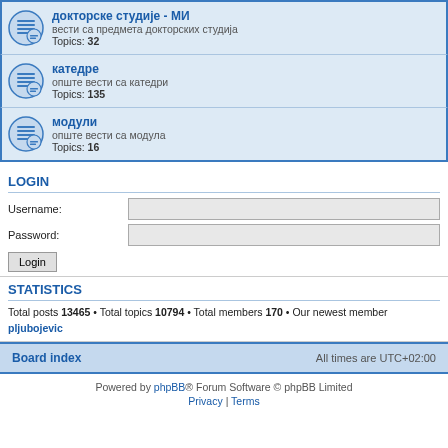докторске студије - МИ | вести са предмета докторских студија | Topics: 32
катедре | опште вести са катедри | Topics: 135
модули | опште вести са модула | Topics: 16
LOGIN
Username:
Password:
STATISTICS
Total posts 13465 • Total topics 10794 • Total members 170 • Our newest member pljubojevic
Board index | All times are UTC+02:00
Powered by phpBB® Forum Software © phpBB Limited | Privacy | Terms